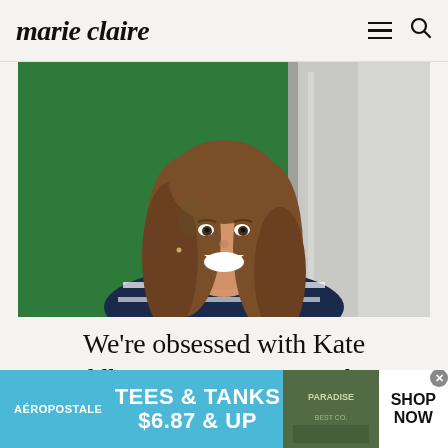marie claire
[Figure (photo): Woman with long brown hair smiling broadly, wearing a navy and white striped sweater. She stands in front of a green background with white fabric visible. This is Kate Middleton.]
We're obsessed with Kate Middleton's new summer shorts
[Figure (infographic): Aéropostale advertisement banner with light blue background reading TEES & TANKS $6.87 & UP with SHOP NOW call to action button on right side and photo of clothing items.]